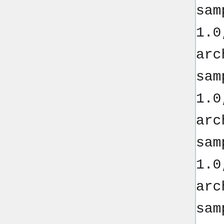sample.Fire
1.0,http://robocode-archive.strangeautomata.com/rob
sample.MyFirstJuniorRobot
1.0,http://robocode-archive.strangeautomata.com//ro
sample.MyFirstRobot
1.0,http://robocode-archive.strangeautomata.com/rob
sample.RamFire
1.0,http://robocode-archive.strangeautomata.com/rob
sample.SittingDuck
1.0,http://robocode-archive.strangeautomata.com/rob
sample.SpinBot
1.0,http://robocode-archive.strangeautomata.com/rob
sample.Target
1.0,http://robocode-archive.strangeautomata.com/rob
sample.Tracker
1.0,http://robocode-archive.strangeautomata.com/rob
sample.TrackFire